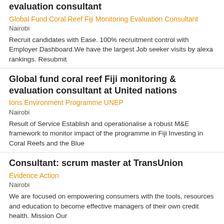evaluation consultant
Global Fund Coral Reef Fiji Monitoring Evaluation Consultant
Nairobi
Recruit candidates with Ease. 100% recruitment control with Employer Dashboard.We have the largest Job seeker visits by alexa rankings. Resubmit
Global fund coral reef Fiji monitoring & evaluation consultant at United nations
Ions Environment Programme UNEP
Nairobi
Result of Service Establish and operationalise a robust M&E framework to monitor impact of the programme in Fiji Investing in Coral Reefs and the Blue
Consultant: scrum master at TransUnion
Evidence Action
Nairobi
We are focused on empowering consumers with the tools, resources and education to become effective managers of their own credit health. Mission Our
Consultant for terminal evaluation of UNEP/GEF project generating enhanced
FAO
Nairobi